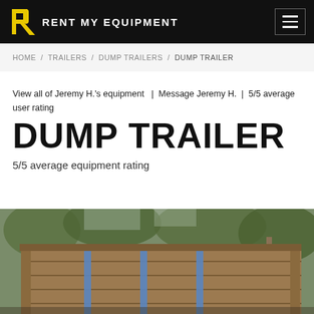RENT MY EQUIPMENT
HOME / TRAILERS / DUMP TRAILERS / DUMP TRAILER
View all of Jeremy H.'s equipment  |  Message Jeremy H.  |  5/5 average user rating
DUMP TRAILER
5/5 average equipment rating
[Figure (photo): Photo of a wooden dump trailer with raised wooden side boards, outdoors among trees]